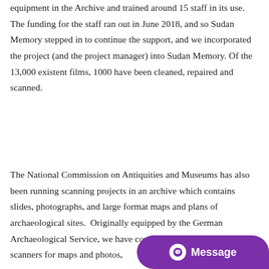equipment in the Archive and trained around 15 staff in its use. The funding for the staff ran out in June 2018, and so Sudan Memory stepped in to continue the support, and we incorporated the project (and the project manager) into Sudan Memory. Of the 13,000 existent films, 1000 have been cleaned, repaired and scanned.
The National Commission on Antiquities and Museums has also been running scanning projects in an archive which contains slides, photographs, and large format maps and plans of archaeological sites.  Originally equipped by the German Archaeological Service, we have contributed professional scanners for maps and photos,